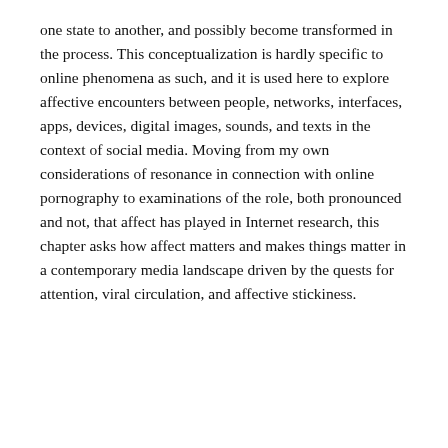one state to another, and possibly become transformed in the process. This conceptualization is hardly specific to online phenomena as such, and it is used here to explore affective encounters between people, networks, interfaces, apps, devices, digital images, sounds, and texts in the context of social media. Moving from my own considerations of resonance in connection with online pornography to examinations of the role, both pronounced and not, that affect has played in Internet research, this chapter asks how affect matters and makes things matter in a contemporary media landscape driven by the quests for attention, viral circulation, and affective stickiness.